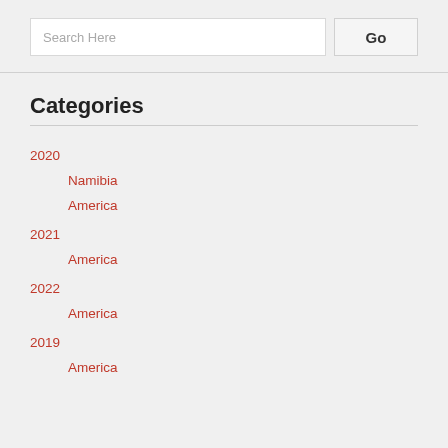Search Here
Go
Categories
2020
Namibia
America
2021
America
2022
America
2019
America